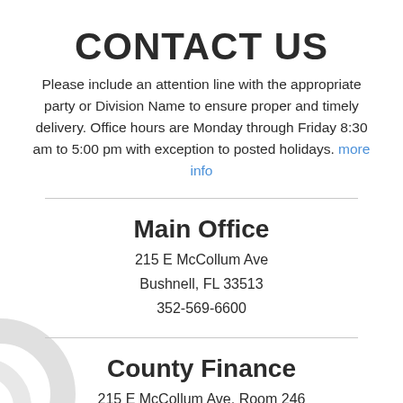CONTACT US
Please include an attention line with the appropriate party or Division Name to ensure proper and timely delivery. Office hours are Monday through Friday 8:30 am to 5:00 pm with exception to posted holidays. more info
Main Office
215 E McCollum Ave
Bushnell, FL 33513
352-569-6600
County Finance
215 E McCollum Ave, Room 246